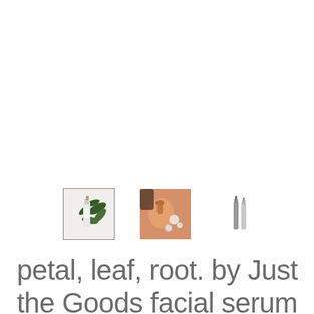[Figure (photo): Three product thumbnail images in a row: (1) a bottle of facial serum with green leaves on white background, selected with border; (2) close-up of amber/orange liquid being poured with white pearls; (3) two slim product bottles on white background.]
petal, leaf, root. by Just the Goods facial serum for normal/sensitive skin